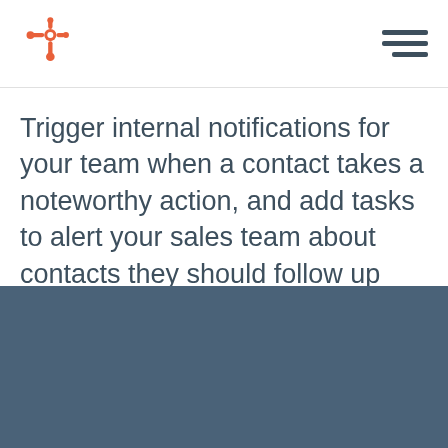HubSpot logo and navigation menu
Trigger internal notifications for your team when a contact takes a noteworthy action, and add tasks to alert your sales team about contacts they should follow up with.
[Figure (other): Dark blue/slate colored footer background section]